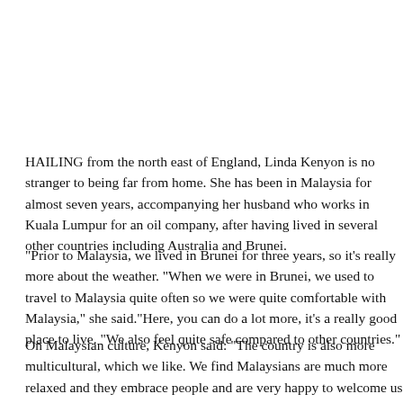HAILING from the north east of England, Linda Kenyon is no stranger to being far from home. She has been in Malaysia for almost seven years, accompanying her husband who works in Kuala Lumpur for an oil company, after having lived in several other countries including Australia and Brunei.
“Prior to Malaysia, we lived in Brunei for three years, so it’s really more about the weather. “When we were in Brunei, we used to travel to Malaysia quite often so we were quite comfortable with Malaysia,” she said.“Here, you can do a lot more, it’s a really good place to live. “We also feel quite safe compared to other countries.”
On Malaysian culture, Kenyon said: “The country is also more multicultural, which we like. We find Malaysians are much more relaxed and they embrace people and are very happy to welcome us to their country,” she said, adding that language was also not a barrier given that many Malaysians were well-versed in English.